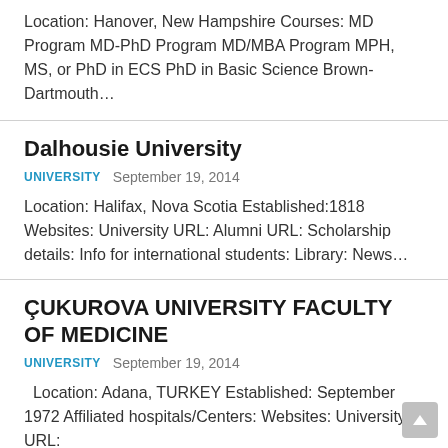Location: Hanover, New Hampshire Courses: MD Program MD-PhD Program MD/MBA Program MPH, MS, or PhD in ECS PhD in Basic Science Brown-Dartmouth…
Dalhousie University
UNIVERSITY   September 19, 2014
Location: Halifax, Nova Scotia Established:1818 Websites: University URL: Alumni URL: Scholarship details: Info for international students: Library: News…
ÇUKUROVA UNIVERSITY FACULTY OF MEDICINE
UNIVERSITY   September 19, 2014
Location: Adana, TURKEY Established: September 1972 Affiliated hospitals/Centers: Websites: University URL: